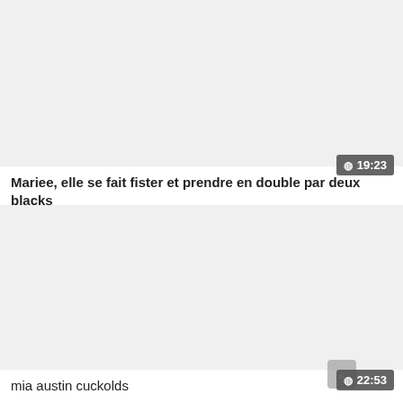[Figure (screenshot): Video thumbnail placeholder, light gray background]
19:23
Mariee, elle se fait fister et prendre en double par deux blacks
[Figure (screenshot): Video thumbnail placeholder, light gray background]
22:53
mia austin cuckolds